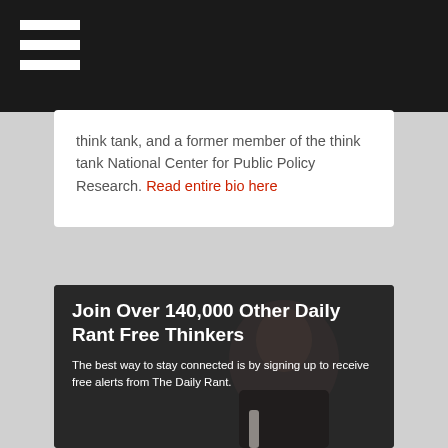think tank, and a former member of the think tank National Center for Public Policy Research. Read entire bio here
[Figure (photo): Portrait photo of an African American man in a suit, used as background image for a newsletter signup banner]
Join Over 140,000 Other Daily Rant Free Thinkers
The best way to stay connected is by signing up to receive free alerts from The Daily Rant.